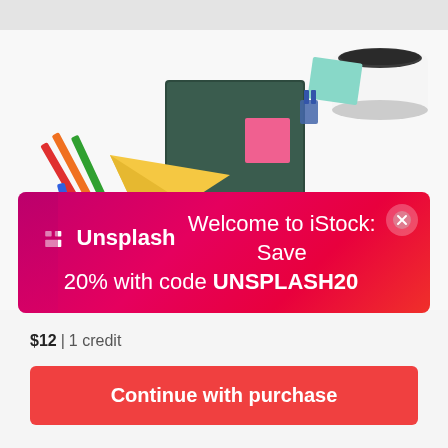[Figure (photo): Flat lay photo of a desk with colorful pencils, crumpled paper balls, a yellow paper plane, a green notebook, sticky notes, a binder clip, and a coffee cup on a white surface.]
Unsplash  Welcome to iStock: Save 20% with code UNSPLASH20
$12 | 1 credit
Continue with purchase